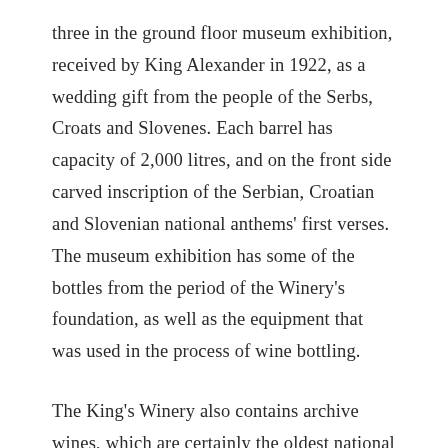three in the ground floor museum exhibition, received by King Alexander in 1922, as a wedding gift from the people of the Serbs, Croats and Slovenes. Each barrel has capacity of 2,000 litres, and on the front side carved inscription of the Serbian, Croatian and Slovenian national anthems' first verses. The museum exhibition has some of the bottles from the period of the Winery's foundation, as well as the equipment that was used in the process of wine bottling.
The King's Winery also contains archive wines, which are certainly the oldest national wines in Serbia. Among others, Oplenka, Žilavka and White Burgundy from 1931, in uniquely shaped bottles with the Royal coat of arms, and Prokupac, Hamburg and Plemenka from later vintages. After World War Two, Oplenac vineyards were